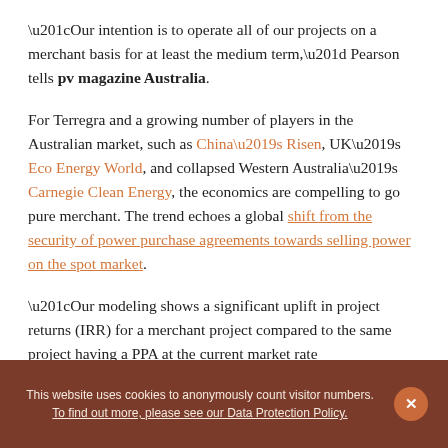“Our intention is to operate all of our projects on a merchant basis for at least the medium term,” Pearson tells pv magazine Australia.
For Terregra and a growing number of players in the Australian market, such as China’s Risen, UK’s Eco Energy World, and collapsed Western Australia’s Carnegie Clean Energy, the economics are compelling to go pure merchant. The trend echoes a global shift from the security of power purchase agreements towards selling power on the spot market.
“Our modeling shows a significant uplift in project returns (IRR) for a merchant project compared to the same project having a PPA at the current market rate
This website uses cookies to anonymously count visitor numbers. To find out more, please see our Data Protection Policy.